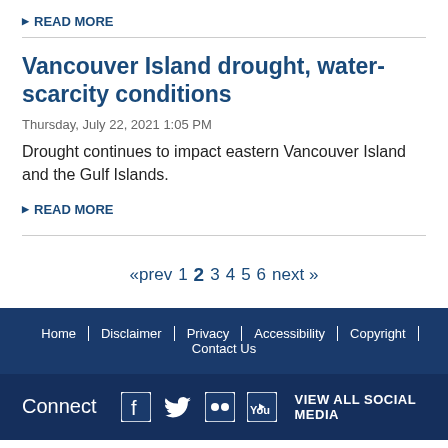READ MORE
Vancouver Island drought, water-scarcity conditions
Thursday, July 22, 2021 1:05 PM
Drought continues to impact eastern Vancouver Island and the Gulf Islands.
READ MORE
«prev  1  2  3  4  5  6  next»
Home | Disclaimer | Privacy | Accessibility | Copyright | Contact Us
Connect  VIEW ALL SOCIAL MEDIA